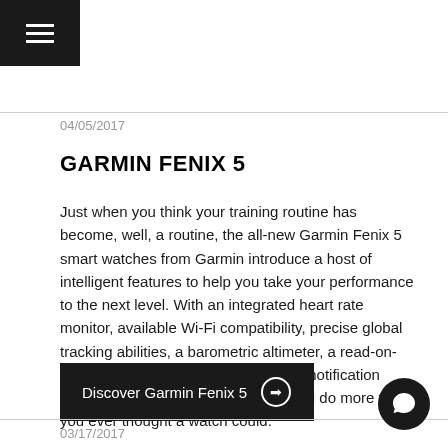≡
04/05/2017
GARMIN FENIX 5
Just when you think your training routine has become, well, a routine, the all-new Garmin Fenix 5 smart watches from Garmin introduce a host of intelligent features to help you take your performance to the next level. With an integrated heart rate monitor, available Wi-Fi compatibility, precise global tracking abilities, a barometric altimeter, a read-on-the-run display, integrated social and notification features, and far more, the Fenix 5 will do more than you ever thought a watch could.
Discover Garmin Fenix 5 →
03/17/2017